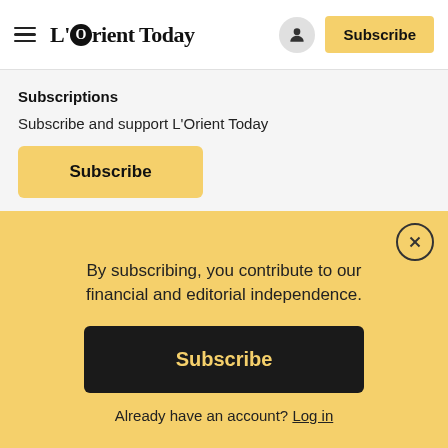L'Orient Today — Navigation bar with hamburger menu, user icon, and Subscribe button
Subscriptions
Subscribe and support L'Orient Today
Subscribe
Facebook
Twitter
By subscribing, you contribute to our financial and editorial independence.
Subscribe
Already have an account? Log in